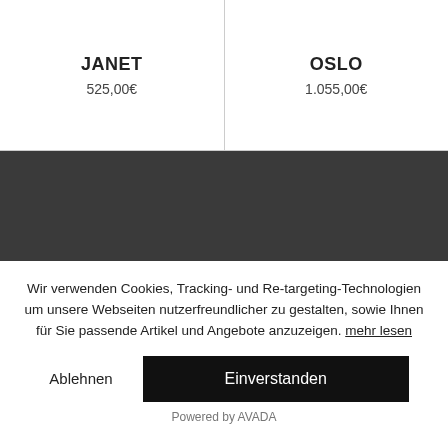JANET
525,00€
OSLO
1.055,00€
[Figure (other): Dark gray/charcoal banner section]
Wir verwenden Cookies, Tracking- und Re-targeting-Technologien um unsere Webseiten nutzerfreundlicher zu gestalten, sowie Ihnen für Sie passende Artikel und Angebote anzuzeigen. mehr lesen
Ablehnen
Einverstanden
Powered by AVADA